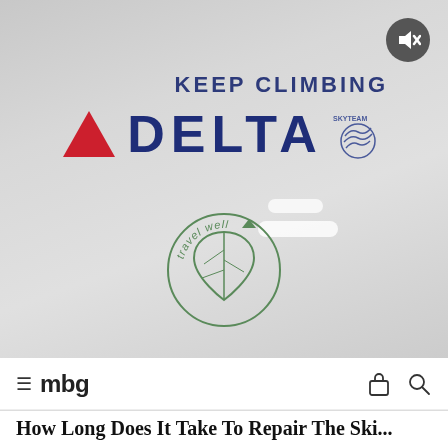[Figure (screenshot): Delta Airlines advertisement video still showing 'KEEP CLIMBING' tagline, Delta logo with red triangle and navy blue text, SkyTeam logo, and a 'travel well' circular green badge with a leaf icon. A mute button is visible in the top right corner. The background is a gray gradient.]
≡ mbg
How Long Does It Take To Repair The Ski...